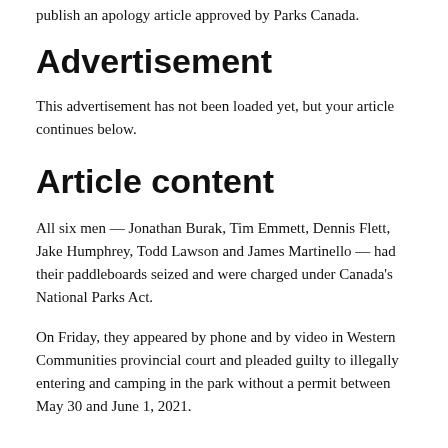publish an apology article approved by Parks Canada.
Advertisement
This advertisement has not been loaded yet, but your article continues below.
Article content
All six men — Jonathan Burak, Tim Emmett, Dennis Flett, Jake Humphrey, Todd Lawson and James Martinello — had their paddleboards seized and were charged under Canada's National Parks Act.
On Friday, they appeared by phone and by video in Western Communities provincial court and pleaded guilty to illegally entering and camping in the park without a permit between May 30 and June 1, 2021.